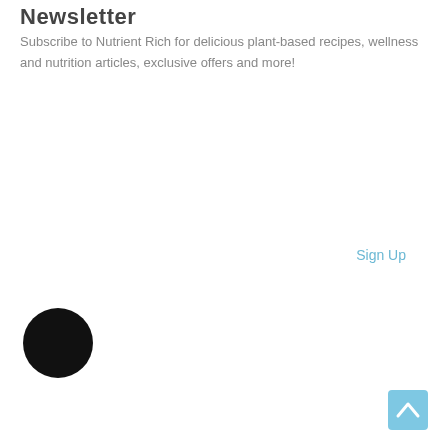Newsletter
Subscribe to Nutrient Rich for delicious plant-based recipes, wellness and nutrition articles, exclusive offers and more!
Sign Up
[Figure (other): Black circle icon, likely a user avatar or profile picture placeholder]
[Figure (other): Light blue scroll-to-top button with an upward chevron arrow]